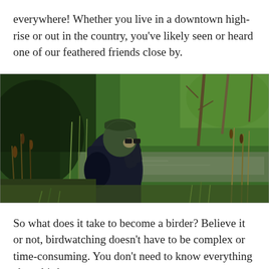everywhere! Whether you live in a downtown high-rise or out in the country, you've likely seen or heard one of our feathered friends close by.
[Figure (photo): A person wearing a dark jacket and a green mesh head net, looking through binoculars at a wetland scene with tall grasses, reeds, water, and bare trees in the background.]
So what does it take to become a birder? Believe it or not, birdwatching doesn't have to be complex or time-consuming. You don't need to know everything about birds